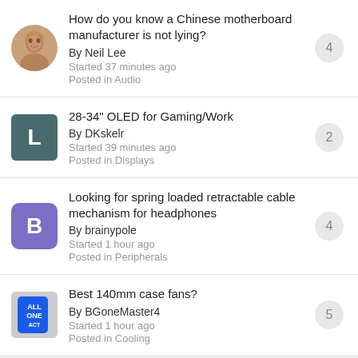How do you know a Chinese motherboard manufacturer is not lying? By Neil Lee · Started 37 minutes ago · Posted in Audio · 4 replies
28-34" OLED for Gaming/Work · By DKskelr · Started 39 minutes ago · Posted in Displays · 2 replies
Looking for spring loaded retractable cable mechanism for headphones · By brainypole · Started 1 hour ago · Posted in Peripherals · 4 replies
Best 140mm case fans? · By BGoneMaster4 · Started 1 hour ago · Posted in Cooling · 5 replies